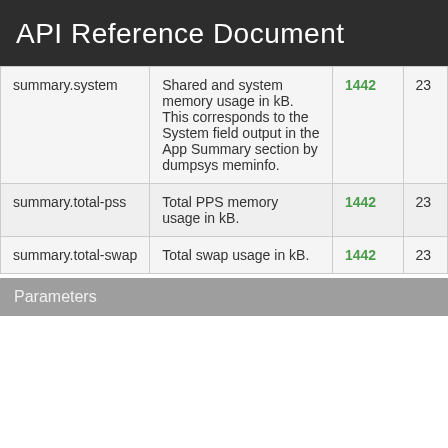API Reference Document
| summary.system | Shared and system memory usage in kB. This corresponds to the System field output in the App Summary section by dumpsys meminfo. | 1442 | 23 |
| summary.total-pss | Total PPS memory usage in kB. | 1442 | 23 |
| summary.total-swap | Total swap usage in kB. | 1442 | 23 |
Parameters